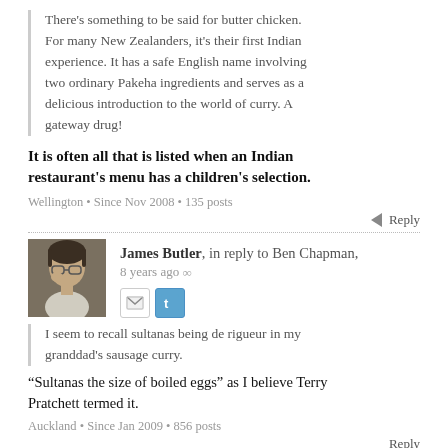There's something to be said for butter chicken. For many New Zealanders, it's their first Indian experience. It has a safe English name involving two ordinary Pakeha ingredients and serves as a delicious introduction to the world of curry. A gateway drug!
It is often all that is listed when an Indian restaurant's menu has a children's selection.
Wellington • Since Nov 2008 • 135 posts
Reply
James Butler, in reply to Ben Chapman, 8 years ago
[Figure (photo): Avatar photo of James Butler, a man with glasses looking sideways]
I seem to recall sultanas being de rigueur in my granddad's sausage curry.
“Sultanas the size of boiled eggs” as I believe Terry Pratchett termed it.
Auckland • Since Jan 2009 • 856 posts
Reply